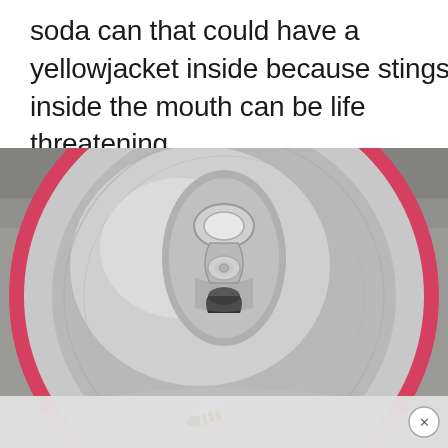soda can that could have a yellowjacket inside because stings inside the mouth can be life threatening.
[Figure (photo): Top-down close-up photograph of an open soda can with a pink rim, showing the pull-tab opener, with a yellowjacket wasp visible at the bottom of the frame near the opening.]